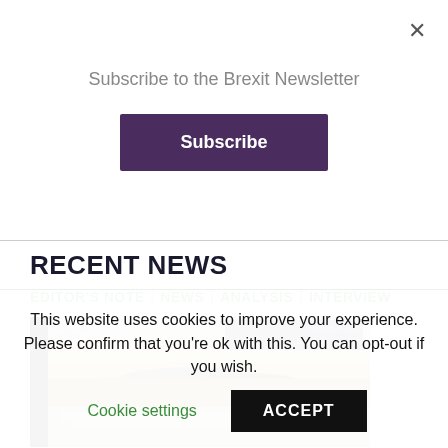Subscribe to the Brexit Newsletter
Subscribe
RECENT NEWS
EDITOR'S NOTE | NEWS | ANALYSIS | INTERVIEW
[Figure (photo): Highways England traffic camera screenshot showing highway queue and landscape, timestamped Crown © 2021 14:04:36 18/12/21]
This website uses cookies to improve your experience. Please confirm that you're ok with this. You can opt-out if you wish.
Cookie settings
ACCEPT